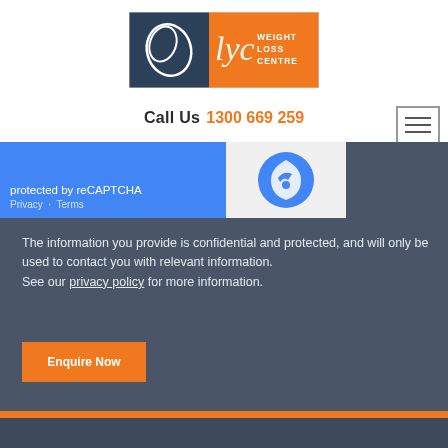[Figure (logo): LYC Weight Loss Centre logo — left half dark grey/teal with a leaf/droplet icon, right half orange with 'lyc' script and 'WEIGHT LOSS CENTRE' text in white]
Call Us 1300 669 259
[Figure (screenshot): Partial reCAPTCHA widget — blue left panel showing 'protected by reCAPTCHA' with Privacy and Terms links, right white panel with reCAPTCHA logo]
The information you provide is confidential and protected, and will only be used to contact you with relevant information.
See our privacy policy for more information.
Enquire Now